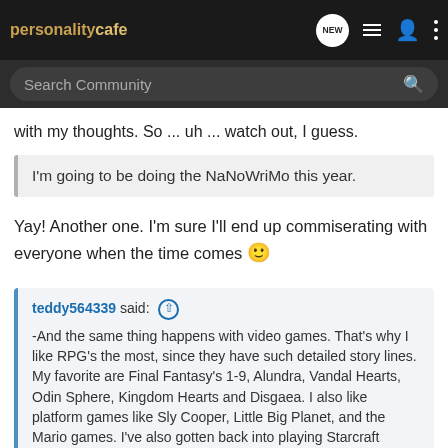personality cafe — NEW
Search Community
with my thoughts. So ... uh ... watch out, I guess.
I'm going to be doing the NaNoWriMo this year.
Yay! Another one. I'm sure I'll end up commiserating with everyone when the time comes 🙂
teddy564339 said: ⊕
-And the same thing happens with video games. That's why I like RPG's the most, since they have such detailed story lines. My favorite are Final Fantasy's 1-9, Alundra, Vandal Hearts, Odin Sphere, Kingdom Hearts and Disgaea. I also like platform games like Sly Cooper, Little Big Planet, and the Mario games. I've also gotten back into playing Starcraft recently so I can get into Starcraft 2.